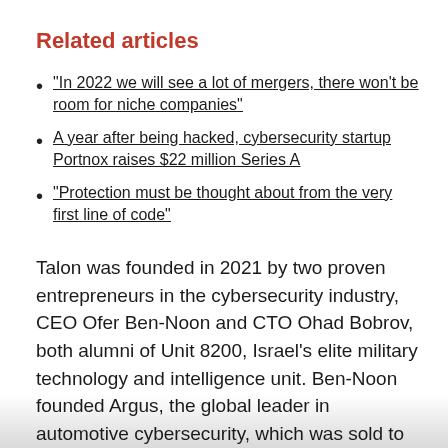Related articles
"In 2022 we will see a lot of mergers, there won't be room for niche companies"
A year after being hacked, cybersecurity startup Portnox raises $22 million Series A
"Protection must be thought about from the very first line of code"
Talon was founded in 2021 by two proven entrepreneurs in the cybersecurity industry, CEO Ofer Ben-Noon and CTO Ohad Bobrov, both alumni of Unit 8200, Israel's elite military technology and intelligence unit. Ben-Noon founded Argus, the global leader in automotive cybersecurity, which was sold to Continental in 2017 (estimated $430 million), while